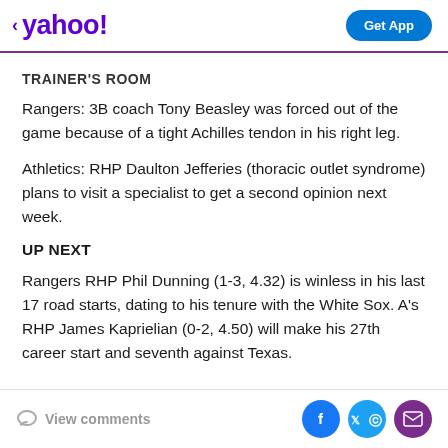yahoo! | Get App
TRAINER'S ROOM
Rangers: 3B coach Tony Beasley was forced out of the game because of a tight Achilles tendon in his right leg.
Athletics: RHP Daulton Jefferies (thoracic outlet syndrome) plans to visit a specialist to get a second opinion next week.
UP NEXT
Rangers RHP Phil Dunning (1-3, 4.32) is winless in his last 17 road starts, dating to his tenure with the White Sox. A's RHP James Kaprielian (0-2, 4.50) will make his 27th career start and seventh against Texas.
View comments